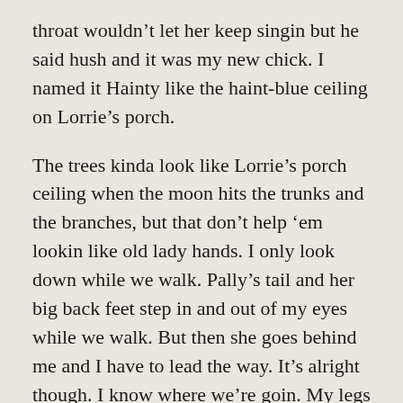throat wouldn't let her keep singin but he said hush and it was my new chick. I named it Hainty like the haint-blue ceiling on Lorrie's porch.
The trees kinda look like Lorrie's porch ceiling when the moon hits the trunks and the branches, but that don't help 'em lookin like old lady hands. I only look down while we walk. Pally's tail and her big back feet step in and out of my eyes while we walk. But then she goes behind me and I have to lead the way. It's alright though. I know where we're goin. My legs are cold, but I put on some long johns of Brother's. They itch but they keep me from shakin like leaves and the janglin parts of Pally's collar. I tuck them in her folds around her neck but she keeps dippin her head and